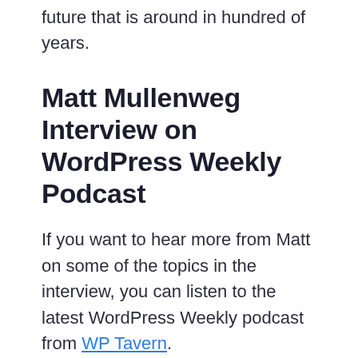future that is around in hundred of years.
Matt Mullenweg Interview on WordPress Weekly Podcast
If you want to hear more from Matt on some of the topics in the interview, you can listen to the latest WordPress Weekly podcast from WP Tavern.
The podcast hosts follow up on his important views from the interview and discuss many other topics related to